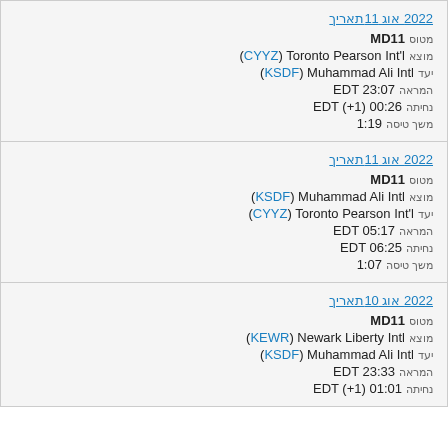תאריך 11 אוג 2022
מטוס MD11
מוצא (CYYZ) Toronto Pearson Int'l
יעד (KSDF) Muhammad Ali Intl
המראה EDT 23:07
נחיתה EDT (+1) 00:26
משך טיסה 1:19
תאריך 11 אוג 2022
מטוס MD11
מוצא (KSDF) Muhammad Ali Intl
יעד (CYYZ) Toronto Pearson Int'l
המראה EDT 05:17
נחיתה EDT 06:25
משך טיסה 1:07
תאריך 10 אוג 2022
מטוס MD11
מוצא (KEWR) Newark Liberty Intl
יעד (KSDF) Muhammad Ali Intl
המראה EDT 23:33
נחיתה EDT (+1) 01:01